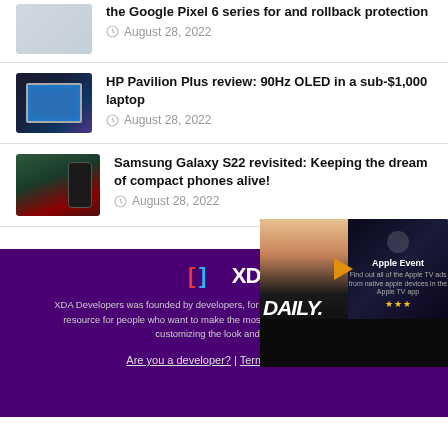the Google Pixel 6 series full and rollback protection — August 28, 2022
HP Pavilion Plus review: 90Hz OLED in a sub-$1,000 laptop — August 28, 2022
Samsung Galaxy S22 revisited: Keeping the dream of compact phones alive! — August 28, 2022
[Figure (screenshot): XDA Developers website footer with purple background, XDA logo, site description, and video overlay showing Apple Event daily segment]
XDA Developers was founded by developers, for developers. It is now a valuable resource for people who want to make the most of their mobile devices, from customizing the look and feel t…
Are you a developer? | Terms of Service